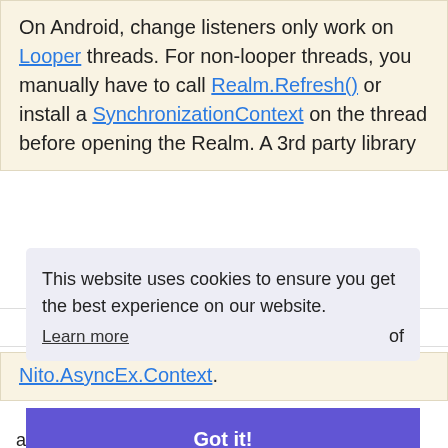On Android, change listeners only work on Looper threads. For non-looper threads, you manually have to call Realm.Refresh() or install a SynchronizationContext on the thread before opening the Realm. A 3rd party library
Realm .NET 5.0.1  Outdated ▾
Nito.AsyncEx.Context.
This website uses cookies to ensure you get the best experience on our website.
Learn more
of
Got it!
another thread or process):